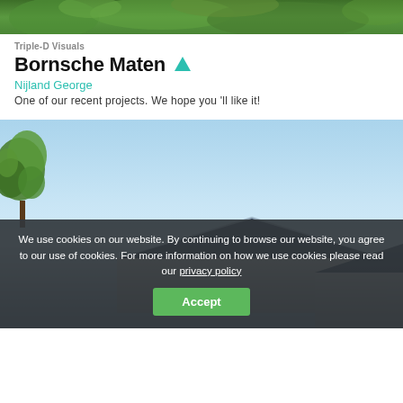[Figure (photo): Top cropped photo of green vegetation/grass background]
Triple-D Visuals
Bornsche Maten
Nijland George
One of our recent projects. We hope you 'll like it!
[Figure (photo): Architectural rendering of modern houses with dark roofs against a clear blue sky, with a green tree visible on the left side]
We use cookies on our website. By continuing to browse our website, you agree to our use of cookies. For more information on how we use cookies please read our privacy policy
Accept